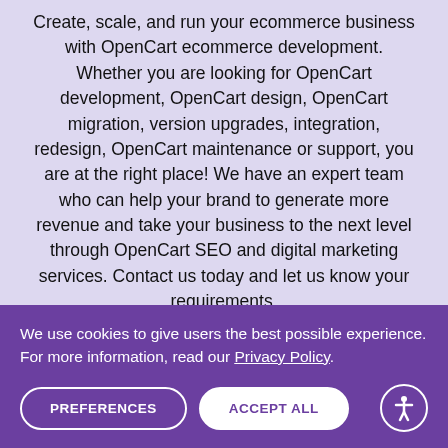Create, scale, and run your ecommerce business with OpenCart ecommerce development. Whether you are looking for OpenCart development, OpenCart design, OpenCart migration, version upgrades, integration, redesign, OpenCart maintenance or support, you are at the right place! We have an expert team who can help your brand to generate more revenue and take your business to the next level through OpenCart SEO and digital marketing services. Contact us today and let us know your requirements.
REQUEST A FREE QUOTE
We use cookies to give users the best possible experience. For more information, read our Privacy Policy.